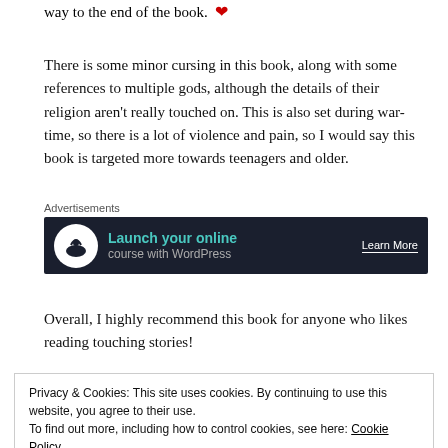way to the end of the book. ❤
There is some minor cursing in this book, along with some references to multiple gods, although the details of their religion aren't really touched on. This is also set during war-time, so there is a lot of violence and pain, so I would say this book is targeted more towards teenagers and older.
[Figure (other): Advertisement banner for launching online course with WordPress, showing a tree logo icon, teal text 'Launch your online course with WordPress' and 'Learn More' button on dark background]
Overall, I highly recommend this book for anyone who likes reading touching stories!
Privacy & Cookies: This site uses cookies. By continuing to use this website, you agree to their use. To find out more, including how to control cookies, see here: Cookie Policy